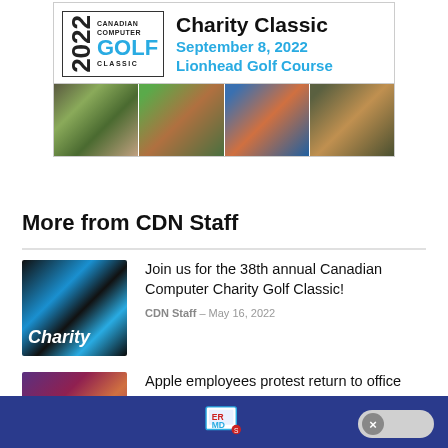[Figure (illustration): 2022 Canadian Computer Golf Classic Charity Classic ad banner showing logo, event date September 8, 2022, Lionhead Golf Course, and four photos of children at outdoor activities]
More from CDN Staff
[Figure (photo): Close-up of keyboard key with Charity text and chain link icon in blue]
Join us for the 38th annual Canadian Computer Charity Golf Classic!
CDN Staff - May 16, 2022
[Figure (photo): Colorful abstract or nature photo]
Apple employees protest return to office